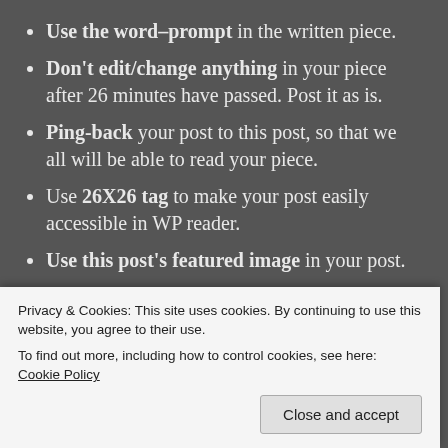Use the word-prompt in the written piece.
Don't edit/change anything in your piece after 26 minutes have passed. Post it as is.
Ping-back your post to this post, so that we all will be able to read your piece.
Use 26X26 tag to make your post easily accessible in WP reader.
Use this post's featured image in your post.
I will see you tomorrow with a Christmas themed
Privacy & Cookies: This site uses cookies. By continuing to use this website, you agree to their use. To find out more, including how to control cookies, see here: Cookie Policy